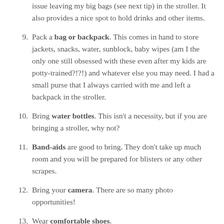issue leaving my big bags (see next tip) in the stroller. It also provides a nice spot to hold drinks and other items.
9. Pack a bag or backpack. This comes in hand to store jackets, snacks, water, sunblock, baby wipes (am I the only one still obsessed with these even after my kids are potty-trained?!?!) and whatever else you may need. I had a small purse that I always carried with me and left a backpack in the stroller.
10. Bring water bottles. This isn't a necessity, but if you are bringing a stroller, why not?
11. Band-aids are good to bring. They don't take up much room and you will be prepared for blisters or any other scrapes.
12. Bring your camera. There are so many photo opportunities!
13. Wear comfortable shoes.
14. If rain is in the forecast (or even if it isn't), bring a